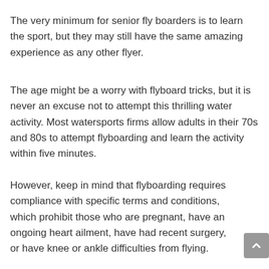The very minimum for senior fly boarders is to learn the sport, but they may still have the same amazing experience as any other flyer.
The age might be a worry with flyboard tricks, but it is never an excuse not to attempt this thrilling water activity. Most watersports firms allow adults in their 70s and 80s to attempt flyboarding and learn the activity within five minutes.
However, keep in mind that flyboarding requires compliance with specific terms and conditions, which prohibit those who are pregnant, have an ongoing heart ailment, have had recent surgery, or have knee or ankle difficulties from flying.